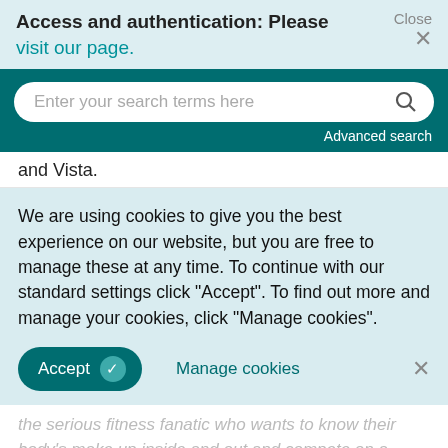Access and authentication: Please visit our page.
Close ×
Enter your search terms here
Advanced search
and Vista.
We are using cookies to give you the best experience on our website, but you are free to manage these at any time. To continue with our standard settings click "Accept". To find out more and manage your cookies, click "Manage cookies".
Accept
Manage cookies
the serious fitness fanatic who wants to know their body's make up inside and out and compete on a